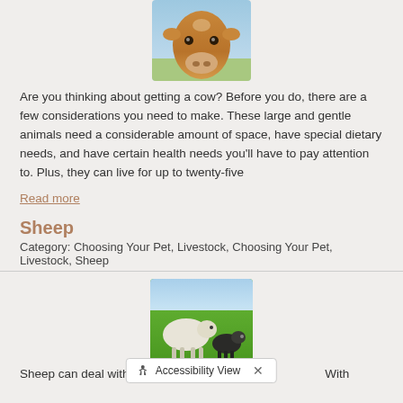[Figure (photo): Close-up photo of a brown/tan cow's face against a light blue sky background]
Are you thinking about getting a cow? Before you do, there are a few considerations you need to make. These large and gentle animals need a considerable amount of space, have special dietary needs, and have certain health needs you'll have to pay attention to. Plus, they can live for up to twenty-five
Read more
Sheep
Category: Choosing Your Pet, Livestock, Choosing Your Pet, Livestock, Sheep
[Figure (photo): Photo of two sheep (an adult and a lamb) standing on green grass]
Sheep can deal with th...   With